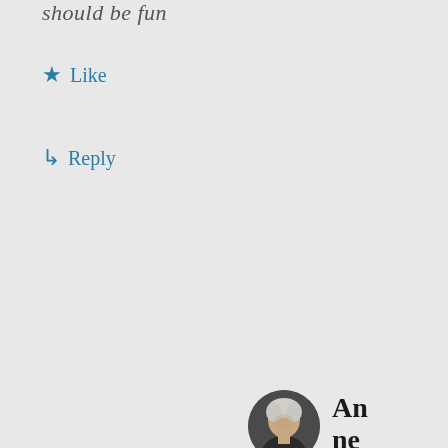should be fun
Like
Reply
[Figure (photo): Round avatar photo of Anne Mehrling, an older woman with short white/grey hair]
Anne Mehrling
November 25, 201